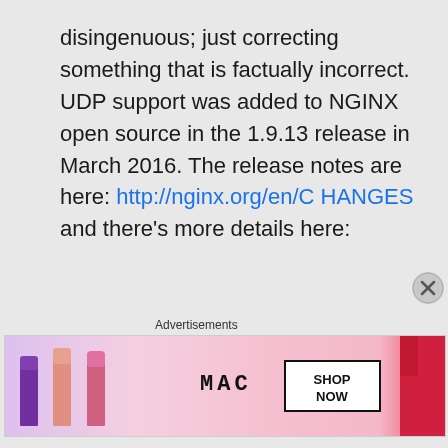disingenuous; just correcting something that is factually incorrect. UDP support was added to NGINX open source in the 1.9.13 release in March 2016. The release notes are here: http://nginx.org/en/CHANGES and there's more details here:
Advertisements
[Figure (photo): MAC cosmetics advertisement banner showing lipsticks in purple, peach, pink, and red colors with MAC brand name and SHOP NOW button]